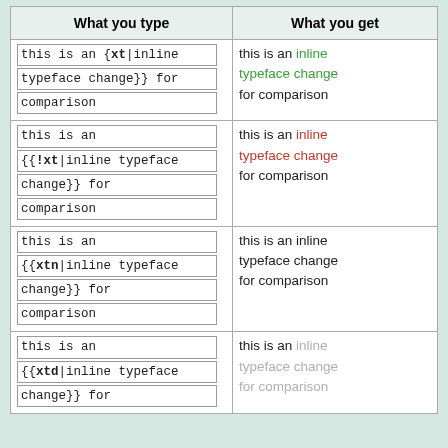| What you type | What you get |
| --- | --- |
| this is an {{xt|inline typeface change}} for comparison | this is an inline typeface change for comparison |
| this is an
{{!xt|inline typeface change}} for comparison | this is an inline typeface change for comparison |
| this is an
{{xtn|inline typeface change}} for comparison | this is an inline typeface change for comparison |
| this is an
{{xtd|inline typeface change}} for comparison | this is an inline typeface change for comparison |